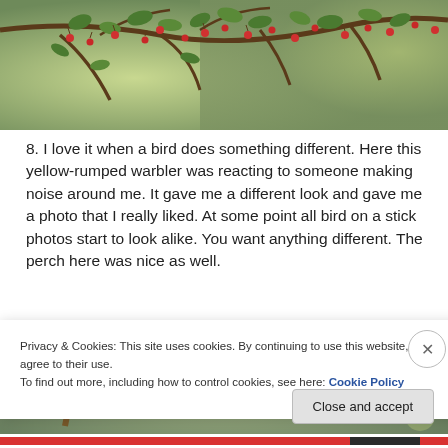[Figure (photo): Photo of tree branches with small red berries and green leaves against a blurred background]
8. I love it when a bird does something different. Here this yellow-rumped warbler was reacting to someone making noise around me. It gave me a different look and gave me a photo that I really liked. At some point all bird on a stick photos start to look alike. You want anything different. The perch here was nice as well.
[Figure (photo): Photo of tree branches with blurred background (partially visible)]
Privacy & Cookies: This site uses cookies. By continuing to use this website, you agree to their use.
To find out more, including how to control cookies, see here: Cookie Policy